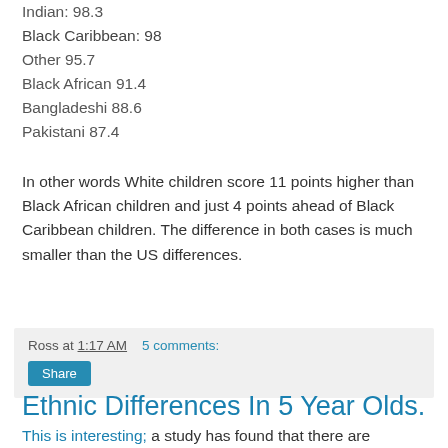Indian: 98.3
Black Caribbean: 98
Other 95.7
Black African 91.4
Bangladeshi 88.6
Pakistani 87.4
In other words White children score 11 points higher than Black African children and just 4 points ahead of Black Caribbean children. The difference in both cases is much smaller than the US differences.
Ross at 1:17 AM    5 comments:
Ethnic Differences In 5 Year Olds.
This is interesting; a study has found that there are significant differences between British 5 year olds depending on their ethnic group. The results largely reflect the